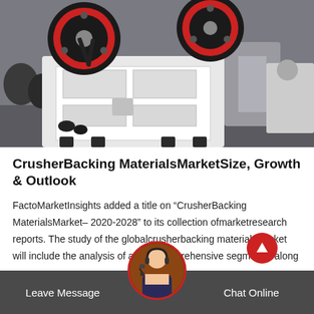[Figure (photo): Industrial jaw crusher machine with large red and black flywheels on top, white body, photographed in a factory/workshop setting with other heavy machinery visible in the background.]
CrusherBacking MaterialsMarketSize, Growth & Outlook
FactoMarketInsights added a title on “CrusherBacking MaterialsMarket– 2020-2028” to its collection ofmarketresearch reports. The study of the globalcrusherbacking materialsmarket will include the analysis of all the comprehensive segments, along w
Leave Message   Chat Online